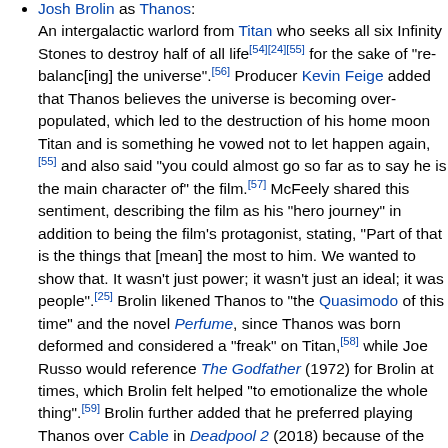Josh Brolin as Thanos: An intergalactic warlord from Titan who seeks all six Infinity Stones to destroy half of all life[54][24][55] for the sake of "re-balanc[ing] the universe".[56] Producer Kevin Feige added that Thanos believes the universe is becoming over-populated, which led to the destruction of his home moon Titan and is something he vowed not to let happen again,[55] and also said "you could almost go so far as to say he is the main character of" the film.[57] McFeely shared this sentiment, describing the film as his "hero journey" in addition to being the film's protagonist, stating, "Part of that is the things that [mean] the most to him. We wanted to show that. It wasn't just power; it wasn't just an ideal; it was people".[25] Brolin likened Thanos to "the Quasimodo of this time" and the novel Perfume, since Thanos was born deformed and considered a "freak" on Titan,[58] while Joe Russo would reference The Godfather (1972) for Brolin at times, which Brolin felt helped "to emotionalize the whole thing".[59] Brolin further added that he preferred playing Thanos over Cable in Deadpool 2 (2018) because of the amount of work that went into creating the character.[60] Thanos does not wear armor for most of the film, which is symbolic of his growing power as he collects the Infinity